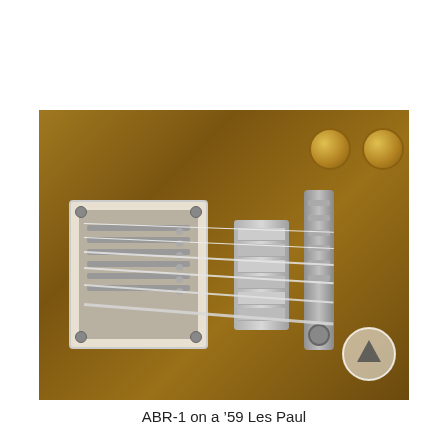[Figure (photo): Close-up photograph of an ABR-1 bridge and tailpiece on a 1959 Gibson Les Paul guitar. The guitar body is goldtop finish. Visible components include the bridge pickup with cream surround, the ABR-1 tune-o-matic bridge with individual saddles, the stop bar tailpiece, guitar strings, and two gold volume/tone knobs. A circular navigation arrow icon is overlaid in the bottom-right corner of the image.]
ABR-1 on a '59 Les Paul